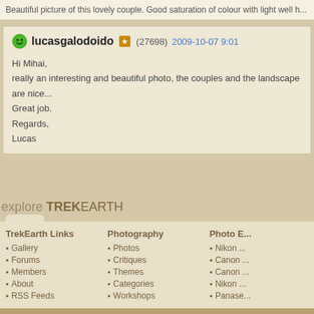Beautiful picture of this lovely couple. Good saturation of colour with light well h...
lucasgalodoido (27698) 2009-10-07 9:01
Hi Mihai,
really an interesting and beautiful photo, the couples and the landscape are nice...
Great job.
Regards,
Lucas
explore TREKEARTH
TrekEarth Links
Gallery
Forums
Members
About
RSS Feeds
Photography
Photos
Critiques
Themes
Categories
Workshops
Photo E...
Nikon ...
Canon ...
Canon ...
Nikon ...
Panase...
[Figure (logo): TREKLENS logo at bottom]